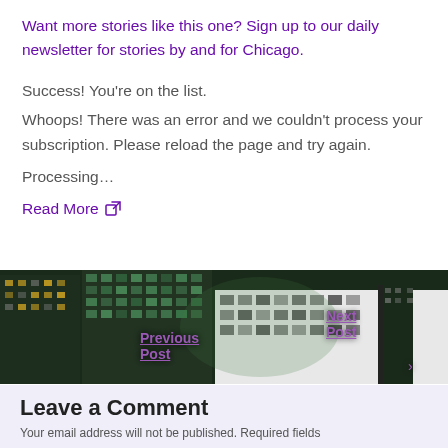Want more stories like this one? Sign up to our daily newsletter for stories by and for Chicago.
Success! You're on the list.
Whoops! There was an error and we couldn't process your subscription. Please reload the page and try again.
Processing…
Read More
[Figure (photo): Aerial nighttime photo of Chicago city buildings with lit windows]
Previous Post
Next Post
Leave a Comment
Your email address will not be published. Required fields